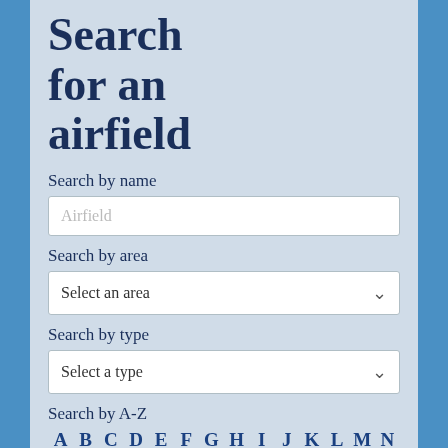Search for an airfield
Search by name
Airfield
Search by area
Select an area
Search by type
Select a type
Search by A-Z
A B C D E F G H I J K L M N O P Q R S T U V W Y Z
Find an airfield by clicking the appropriate letter above
Search by map